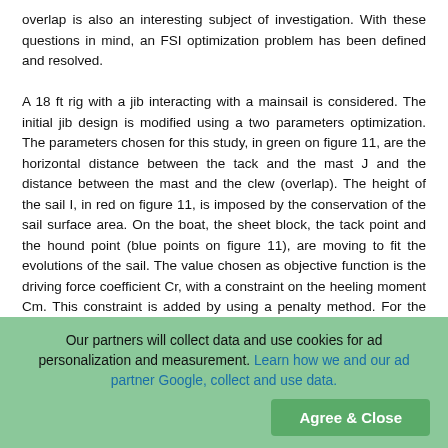overlap is also an interesting subject of investigation. With these questions in mind, an FSI optimization problem has been defined and resolved.

A 18 ft rig with a jib interacting with a mainsail is considered. The initial jib design is modified using a two parameters optimization. The parameters chosen for this study, in green on figure 11, are the horizontal distance between the tack and the mast J and the distance between the mast and the clew (overlap). The height of the sail I, in red on figure 11, is imposed by the conservation of the sail surface area. On the boat, the sheet block, the tack point and the hound point (blue points on figure 11), are moving to fit the evolutions of the sail. The value chosen as objective function is the driving force coefficient Cr, with a constraint on the heeling moment Cm. This constraint is added by using a penalty method. For the structural analysis the mast is modelled as a rigid object, for the aerodynamic analysis there is no mast. Results of the FSI
Our partners will collect data and use cookies for ad personalization and measurement. Learn how we and our ad partner Google, collect and use data.